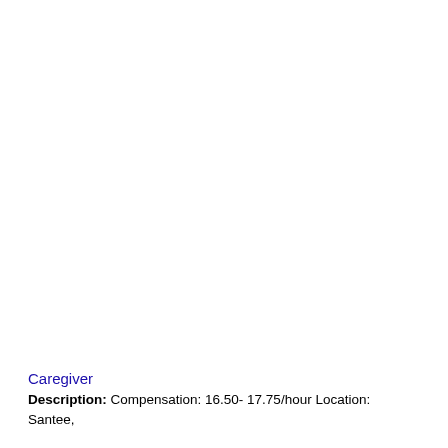Caregiver
Description: Compensation: 16.50- 17.75/hour Location: Santee,